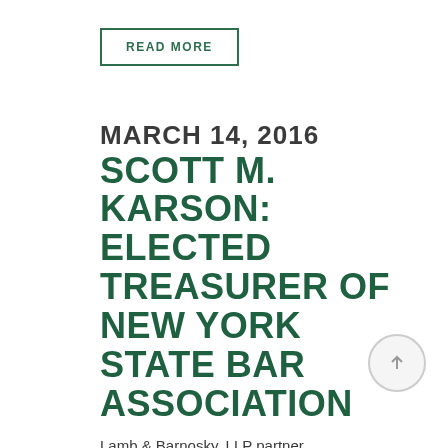READ MORE
MARCH 14, 2016
SCOTT M. KARSON: ELECTED TREASURER OF NEW YORK STATE BAR ASSOCIATION
Lamb & Barnosky, LLP partner Scott M. Karson has been elected as Treasurer of the New York State Bar Association for 2016-2017....